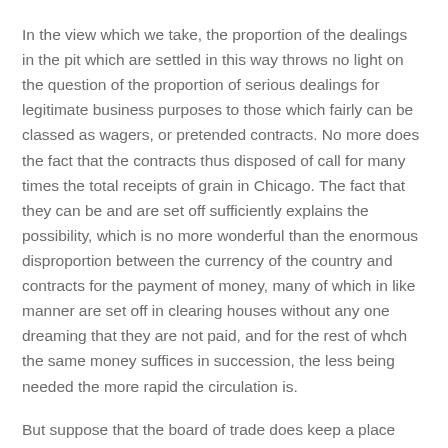In the view which we take, the proportion of the dealings in the pit which are settled in this way throws no light on the question of the proportion of serious dealings for legitimate business purposes to those which fairly can be classed as wagers, or pretended contracts. No more does the fact that the contracts thus disposed of call for many times the total receipts of grain in Chicago. The fact that they can be and are set off sufficiently explains the possibility, which is no more wonderful than the enormous disproportion between the currency of the country and contracts for the payment of money, many of which in like manner are set off in clearing houses without any one dreaming that they are not paid, and for the rest of whch the same money suffices in succession, the less being needed the more rapid the circulation is.
But suppose that the board of trade does keep a place where pretended and unlawful buying and selling are permitted,